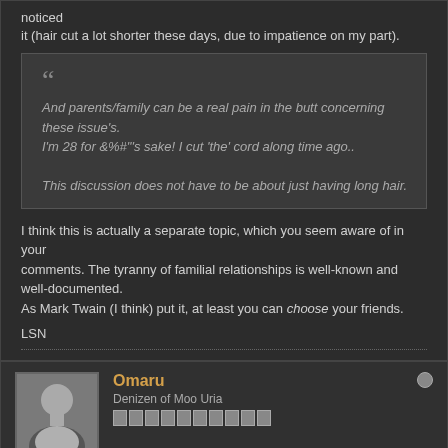noticed
it (hair cut a lot shorter these days, due to impatience on my part).
And parents/family can be a real pain in the butt concerning these issue's.
I'm 28 for &%#"'s sake! I cut 'the' cord along time ago..

This discussion does not have to be about just having long hair.
I think this is actually a separate topic, which you seem aware of in your
comments. The tyranny of familial relationships is well-known and well-documented.
As Mark Twain (I think) put it, at least you can choose your friends.

LSN
Omaru
Denizen of Moo Uria
Join Date: Dec 2003   Posts: 185